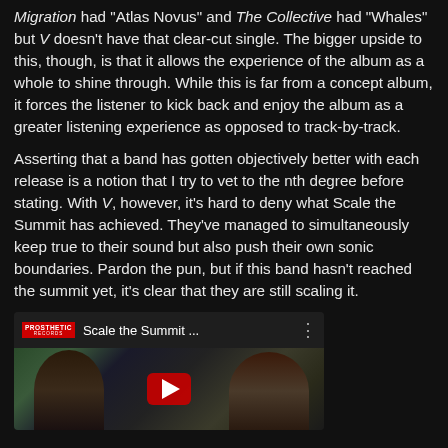Migration had "Atlas Novus" and The Collective had "Whales" but V doesn't have that clear-cut single. The bigger upside to this, though, is that it allows the experience of the album as a whole to shine through. While this is far from a concept album, it forces the listener to kick back and enjoy the album as a greater listening experience as opposed to track-by-track.
Asserting that a band has gotten objectively better with each release is a notion that I try to vet to the nth degree before stating. With V, however, it's hard to deny what Scale the Summit has achieved. They've managed to simultaneously keep true to their sound but also push their own sonic boundaries. Pardon the pun, but if this band hasn't reached the summit yet, it's clear that they are still scaling it.
[Figure (screenshot): YouTube video embed thumbnail showing Scale the Summit video from Prosthetic Records channel, with play button overlay and band members visible in thumbnail]